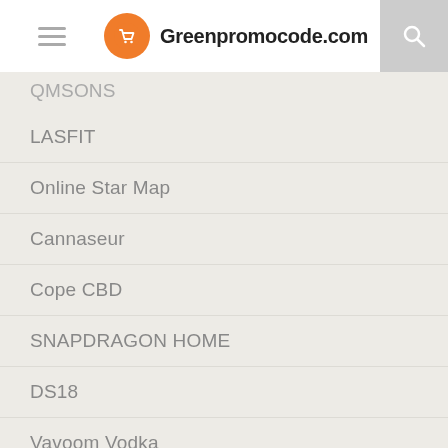Greenpromocode.com
QMSONS
LASFIT
Online Star Map
Cannaseur
Cope CBD
SNAPDRAGON HOME
DS18
Vavoom Vodka